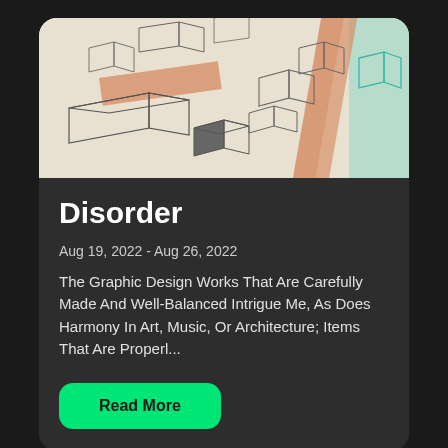[Figure (illustration): Isometric architectural/geometric drawing with 3D box shapes, orange and teal diagonal lines on a beige/cream background]
Disorder
Aug 19, 2022 - Aug 26, 2022
The Graphic Design Works That Are Carefully Made And Well-Balanced Intrigue Me, As Does Harmony In Art, Music, Or Architecture; Items That Are Properl...
Read More